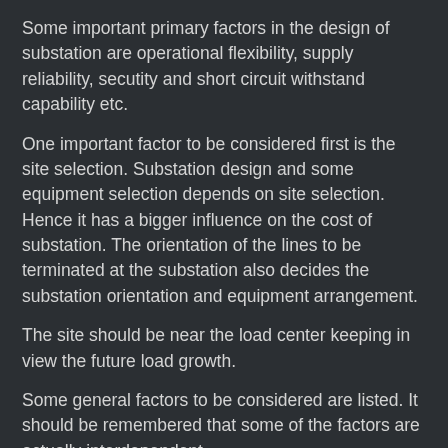Some important primary factors in the design of substation are operational flexibility, supply reliability, secutity and short circuit withstand capability etc.
One important factor to be considered first is the site selection. Substation design and some equipment selection depends on site selection. Hence it has a bigger influence on the cost of substation. The orientation of the lines to be terminated at the substation also decides the substation orientation and equipment arrangement.
The site should be near the load center keeping in view the future load growth.
Some general factors to be considered are listed. It should be remembered that some of the factors are actually interdependent.
Access road to the site for smooth movement of construction machines, equipments and transformers. Good Roadways to construction site and shorter distance to rail head are desired.